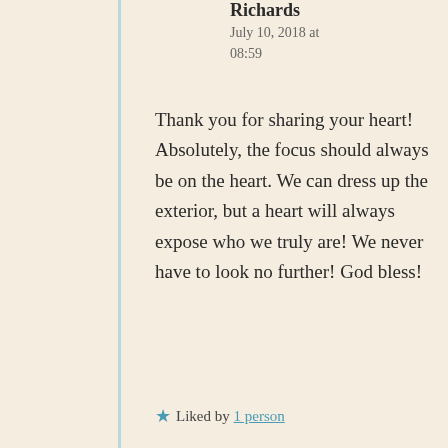Richards
July 10, 2018 at 08:59
Thank you for sharing your heart! Absolutely, the focus should always be on the heart. We can dress up the exterior, but a heart will always expose who we truly are! We never have to look no further! God bless!
Liked by 1 person